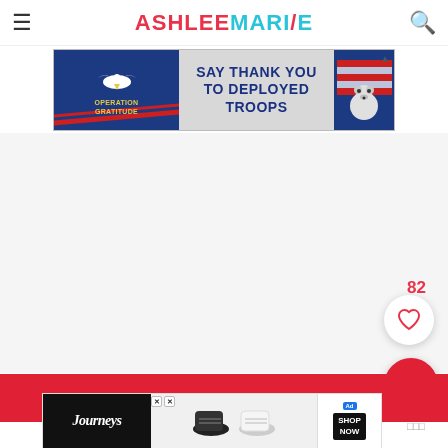ASHLEE MARIE - navigation bar with hamburger menu and search icon
[Figure (screenshot): Operation Gratitude advertisement banner: 'SAY THANK YOU TO DEPLOYED TROOPS']
[Figure (screenshot): White/gray content area with like count '82' and heart button, red search FAB button]
[Figure (screenshot): Journeys shoe advertisement strip at the bottom of the page showing sneakers and SHOP NOW button]